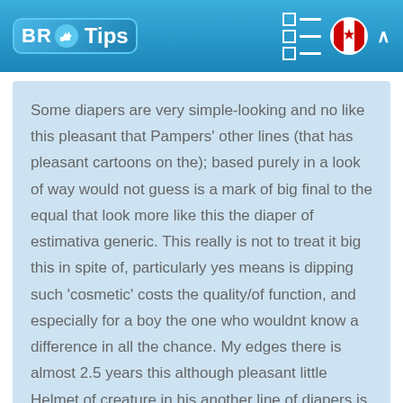BR Tips
Some diapers are very simple-looking and no like this pleasant that Pampers' other lines (that has pleasant cartoons on the); based purely in a look of way would not guess is a mark of big final to the equal that look more like this the diaper of estimativa generic. This really is not to treat it big this in spite of, particularly yes means is dipping such 'cosmetic' costs the quality/of function, and especially for a boy the one who wouldnt know a difference in all the chance. My edges there is almost 2.5 years this although pleasant little Helmet of creature in his another line of diapers is